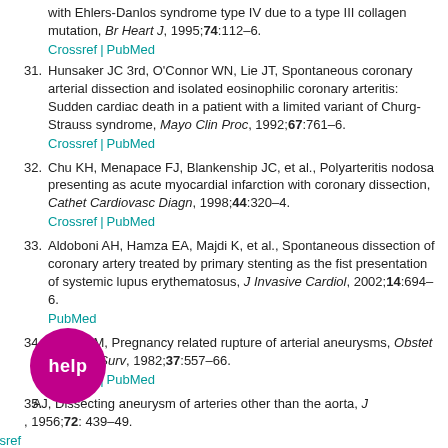with Ehlers-Danlos syndrome type IV due to a type III collagen mutation, Br Heart J, 1995;74:112–6. Crossref | PubMed
31. Hunsaker JC 3rd, O'Connor WN, Lie JT, Spontaneous coronary arterial dissection and isolated eosinophilic coronary arteritis: Sudden cardiac death in a patient with a limited variant of Churg-Strauss syndrome, Mayo Clin Proc, 1992;67:761–6. Crossref | PubMed
32. Chu KH, Menapace FJ, Blankenship JC, et al., Polyarteritis nodosa presenting as acute myocardial infarction with coronary dissection, Cathet Cardiovasc Diagn, 1998;44:320–4. Crossref | PubMed
33. Aldoboni AH, Hamza EA, Majdi K, et al., Spontaneous dissection of coronary artery treated by primary stenting as the fist presentation of systemic lupus erythematosus, J Invasive Cardiol, 2002;14:694–6. PubMed
34. Barret JM, Pregnancy related rupture of arterial aneurysms, Obstet Gynecol Surv, 1982;37:557–66. Crossref | PubMed
35. ...AJ, Dissecting aneurysm of arteries other than the aorta, J ..., 1956;72: 439–49. Crossref
[Figure (illustration): Pink/magenta circular help button with white text 'help']